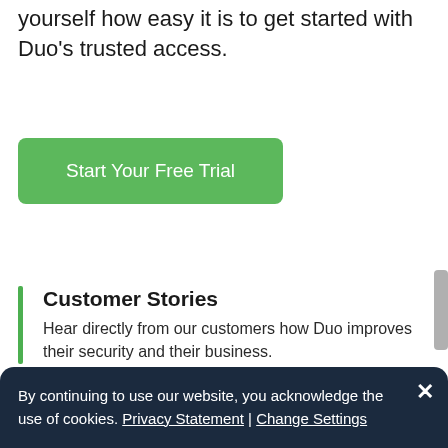yourself how easy it is to get started with Duo's trusted access.
Start Your Free Trial
Customer Stories
Hear directly from our customers how Duo improves their security and their business.
eBooks
Learn more about a variety of infosec topics in our library of informative eBooks.
By continuing to use our website, you acknowledge the use of cookies. Privacy Statement | Change Settings